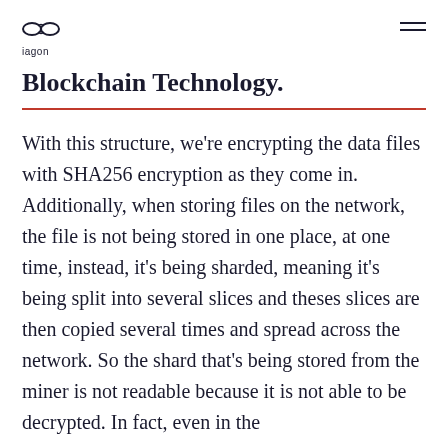iagon
Blockchain Technology.
With this structure, we're encrypting the data files with SHA256 encryption as they come in. Additionally, when storing files on the network, the file is not being stored in one place, at one time, instead, it's being sharded, meaning it's being split into several slices and theses slices are then copied several times and spread across the network. So the shard that's being stored from the miner is not readable because it is not able to be decrypted. In fact, even in the